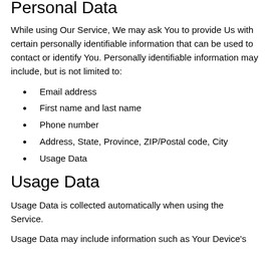Personal Data
While using Our Service, We may ask You to provide Us with certain personally identifiable information that can be used to contact or identify You. Personally identifiable information may include, but is not limited to:
Email address
First name and last name
Phone number
Address, State, Province, ZIP/Postal code, City
Usage Data
Usage Data
Usage Data is collected automatically when using the Service.
Usage Data may include information such as Your Device's